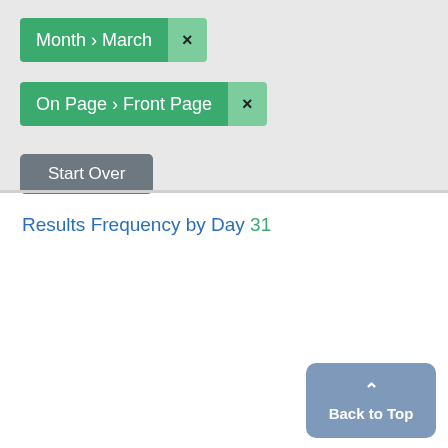Month > March ×
On Page > Front Page ×
Start Over
Results Frequency by Day 31
1
2
3
4
5
6
7
8
9
Back to Top